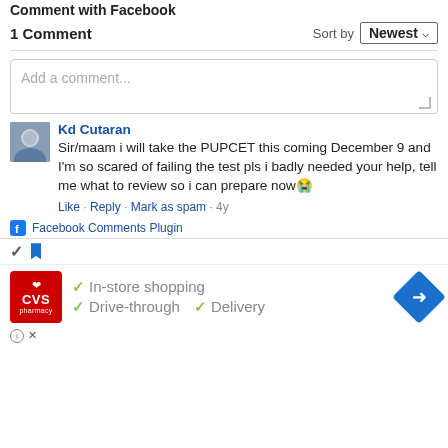Comment with Facebook
1 Comment
Sort by Newest
Add a comment...
Kd Cutaran
Sir/maam i will take the PUPCET this coming December 9 and I'm so scared of failing the test pls i badly needed your help, tell me what to review so i can prepare now😭
Like · Reply · Mark as spam · 4y
Facebook Comments Plugin
[Figure (screenshot): CVS Pharmacy advertisement with checkmarks showing In-store shopping, Drive-through, and Delivery options with navigation icon]